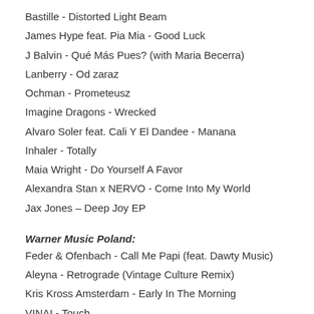Bastille - Distorted Light Beam
James Hype feat. Pia Mia - Good Luck
J Balvin - Qué Más Pues? (with Maria Becerra)
Lanberry - Od zaraz
Ochman - Prometeusz
Imagine Dragons - Wrecked
Alvaro Soler feat. Cali Y El Dandee - Manana
Inhaler - Totally
Maia Wright - Do Yourself A Favor
Alexandra Stan x NERVO - Come Into My World
Jax Jones – Deep Joy EP
Warner Music Poland:
Feder & Ofenbach - Call Me Papi (feat. Dawty Music)
Aleyna - Retrograde (Vintage Culture Remix)
Kris Kross Amsterdam - Early In The Morning
VINAI - Touch
Ed Sheeran - Bad Habits
Global Records Polska: